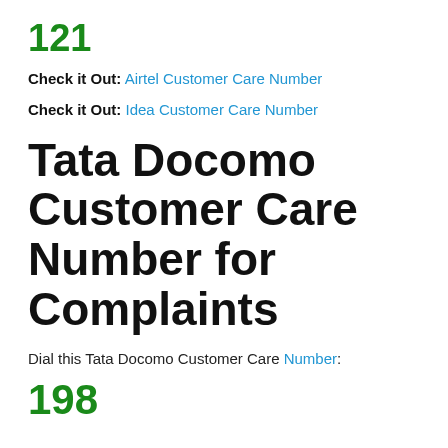121
Check it Out: Airtel Customer Care Number
Check it Out: Idea Customer Care Number
Tata Docomo Customer Care Number for Complaints
Dial this Tata Docomo Customer Care Number:
198